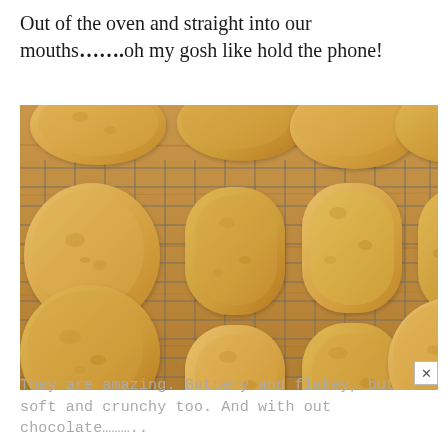Out of the oven and straight into our mouths…….oh my gosh like hold the phone!
[Figure (photo): Oatmeal cookies cooling on a wire rack on a wooden surface, arranged in rows, golden brown in color.]
They are amazing. Buttery and flakey, but soft and crunchy too. And with out chocolate……….